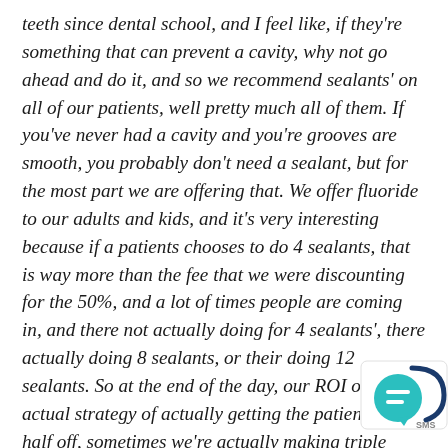teeth since dental school, and I feel like, if they're something that can prevent a cavity, why not go ahead and do it, and so we recommend sealants' on all of our patients, well pretty much all of them. If you've never had a cavity and you're grooves are smooth, you probably don't need a sealant, but for the most part we are offering that. We offer fluoride to our adults and kids, and it's very interesting because if a patients chooses to do 4 sealants, that is way more than the fee that we were discounting for the 50%, and a lot of times people are coming in, and there not actually doing for 4 sealants', there actually doing 8 sealants, or their doing 12 sealants. So at the end of the day, our ROI on that actual strategy of actually getting the patient in at half off, sometimes we're actually making triple what we would of made in the same appointment, and the same appointment time, because we're offering services that don't take very long, that have
[Figure (illustration): Chat/messaging app icon - circular teal speech bubble icon with SMS label]